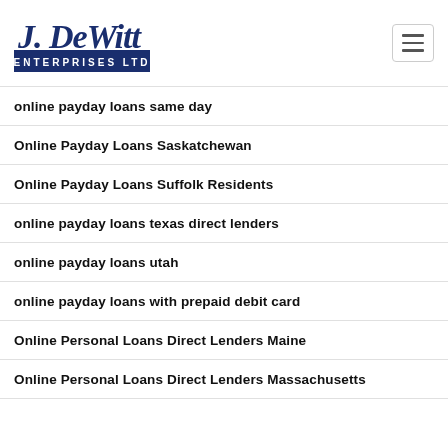[Figure (logo): J. DeWitt Enterprises Ltd logo in dark blue with cursive J. DeWitt text and block ENTERPRISES LTD underneath]
online payday loans same day
Online Payday Loans Saskatchewan
Online Payday Loans Suffolk Residents
online payday loans texas direct lenders
online payday loans utah
online payday loans with prepaid debit card
Online Personal Loans Direct Lenders Maine
Online Personal Loans Direct Lenders Massachusetts